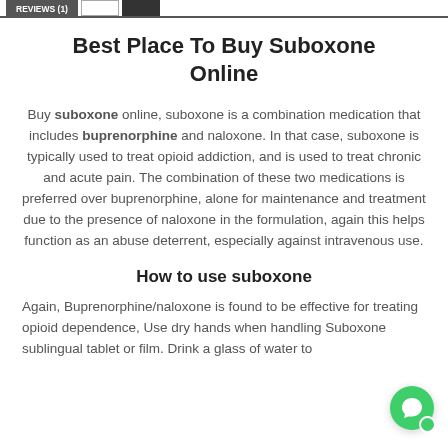REVIEWS (1)
Best Place To Buy Suboxone Online
Buy suboxone online, suboxone is a combination medication that includes buprenorphine and naloxone. In that case, suboxone is typically used to treat opioid addiction, and is used to treat chronic and acute pain. The combination of these two medications is preferred over buprenorphine, alone for maintenance and treatment due to the presence of naloxone in the formulation, again this helps function as an abuse deterrent, especially against intravenous use.
How to use suboxone
Again, Buprenorphine/naloxone is found to be effective for treating opioid dependence, Use dry hands when handling Suboxone sublingual tablet or film. Drink a glass of water to